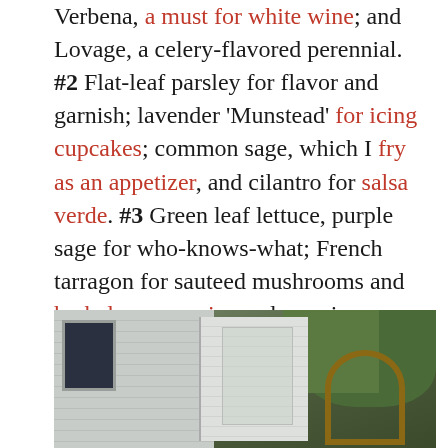Verbena, a must for white wine; and Lovage, a celery-flavored perennial. #2 Flat-leaf parsley for flavor and garnish; lavender 'Munstead' for icing cupcakes; common sage, which I fry as an appetizer, and cilantro for salsa verde. #3 Green leaf lettuce, purple sage for who-knows-what; French tarragon for sauteed mushrooms and herbal mayonnaise; pelargonium 'True Rose' for vodka drinks, and rosemary for shirred eggs. #4 Red oak-leaf lettuce; oregano and thyme for pizza and pasta sauces; winter savory for winter stews.
[Figure (photo): Outdoor photograph showing a white/grey clapboard building with a window on the left, a garden trellis or grid structure in the center, a rustic wooden arch on the right, and trees in the background.]